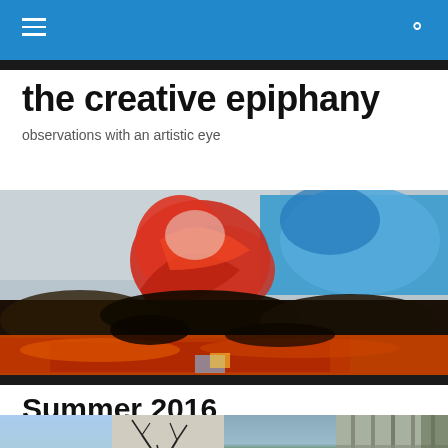the creative epiphany — navigation bar with hamburger menu and search icon
the creative epiphany
observations with an artistic eye
[Figure (photo): Abstract painting with vibrant red, orange, black and blue colors; expressive brushwork resembling a fiery landscape]
Summer 2016
[Figure (photo): Row of four thumbnail photographs: coastal/lake scene, bare tree branches, green hillside, architectural window detail]